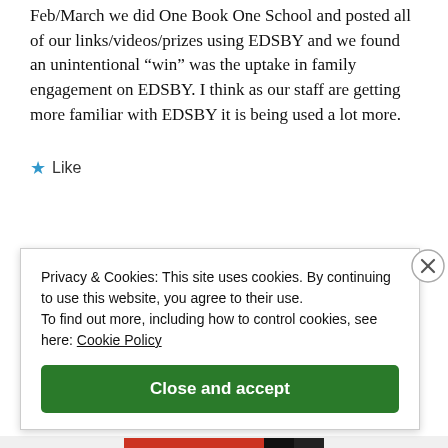Feb/March we did One Book One School and posted all of our links/videos/prizes using EDSBY and we found an unintentional “win” was the uptake in family engagement on EDSBY. I think as our staff are getting more familiar with EDSBY it is being used a lot more.
★ Like
Privacy & Cookies: This site uses cookies. By continuing to use this website, you agree to their use.
To find out more, including how to control cookies, see here: Cookie Policy
Close and accept